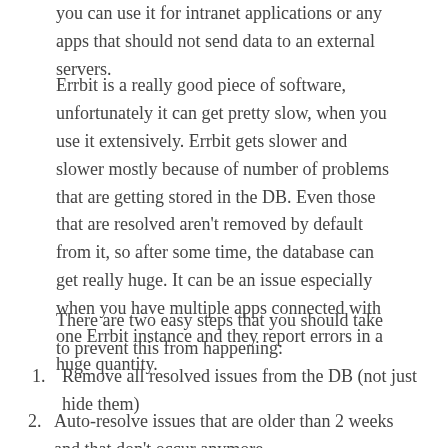you can use it for intranet applications or any apps that should not send data to an external servers.
Errbit is a really good piece of software, unfortunately it can get pretty slow, when you use it extensively. Errbit gets slower and slower mostly because of number of problems that are getting stored in the DB. Even those that are resolved aren't removed by default from it, so after some time, the database can get really huge. It can be an issue especially when you have multiple apps connected with one Errbit instance and they report errors in a huge quantity.
There are two easy steps that you should take to prevent this from happening:
Remove all resolved issues from the DB (not just hide them)
Auto-resolve issues that are older than 2 weeks and that don't occur anymore
Both this tasks should be executed periodically, so we will